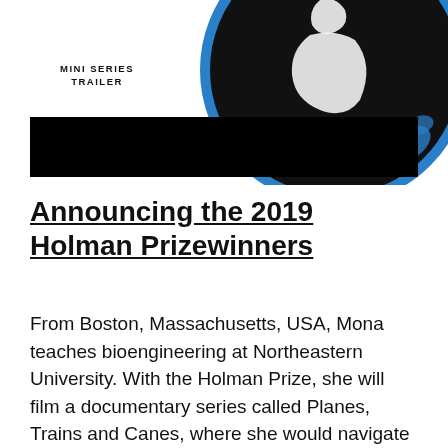[Figure (illustration): Circular graphic with black background and blue border outline showing a figure/silhouette in white, with 'MINI SERIES TRAILER' text in bold uppercase to the left. A black bar spans the lower portion of the image area.]
Announcing the 2019 Holman Prizewinners
From Boston, Massachusetts, USA, Mona teaches bioengineering at Northeastern University. With the Holman Prize, she will film a documentary series called Planes, Trains and Canes, where she would navigate and access the public transportation systems